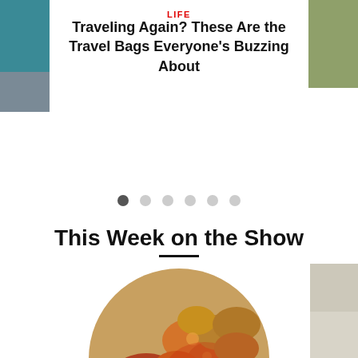LIFE
Traveling Again? These Are the Travel Bags Everyone's Buzzing About
[Figure (other): Carousel navigation dots, 6 dots with first one active/dark]
This Week on the Show
[Figure (photo): Circular cropped photo of fried/breaded food pieces with a dipping sauce bowl in a terracotta dish, buffalo-style wings or cauliflower bites]